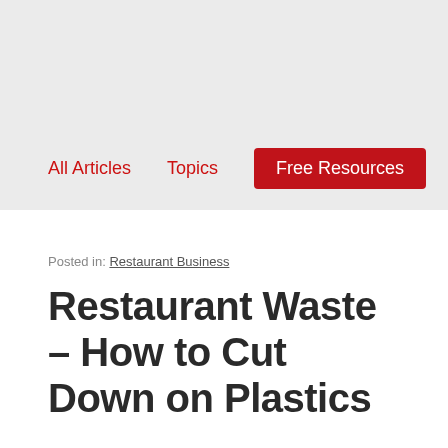All Articles | Topics | Free Resources
Posted in: Restaurant Business
Restaurant Waste – How to Cut Down on Plastics